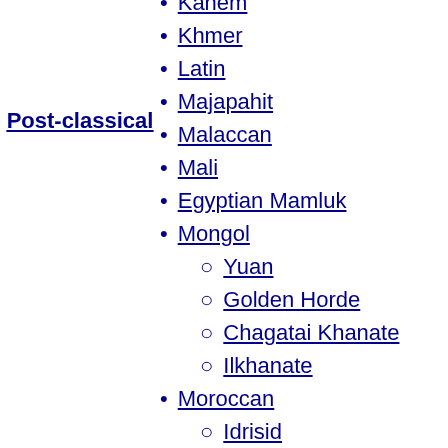Post-classical
Kanem
Khmer
Latin
Majapahit
Malaccan
Mali
Egyptian Mamluk
Mongol
Yuan
Golden Horde
Chagatai Khanate
Ilkhanate
Moroccan
Idrisid
Almoravid
Almohad
Marinid
North Sea
Oyo
Greco-roman
Eastern
Nicaea
Thessalonica
Trebizond
Despotate of Epirus